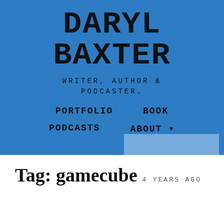DARYL BAXTER
WRITER, AUTHOR & PODCASTER.
PORTFOLIO
BOOK
PODCASTS
ABOUT ▾
Tag: gamecube
4 YEARS AGO